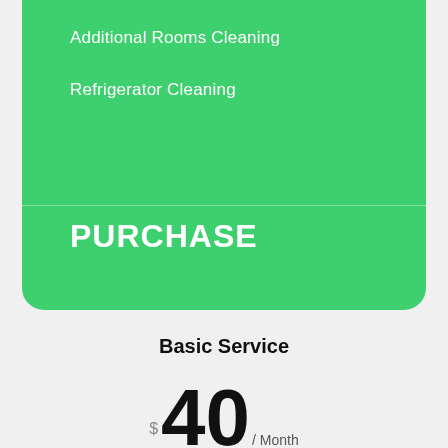Additional Rooms Cleaning
Refrigerator Cleaning
PURCHASE
Basic Service
$40 /Month